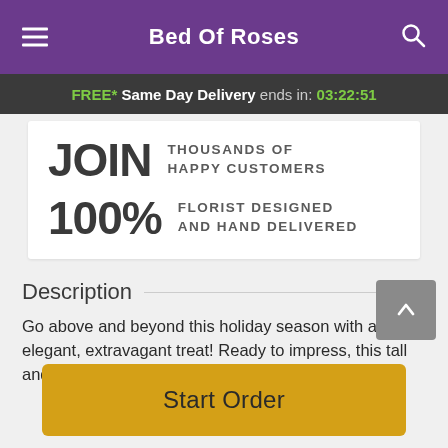Bed Of Roses
FREE* Same Day Delivery ends in: 03:22:51
JOIN THOUSANDS OF HAPPY CUSTOMERS
100% FLORIST DESIGNED AND HAND DELIVERED
Description
Go above and beyond this holiday season with an elegant, extravagant treat! Ready to impress, this tall and strikingly
Start Order